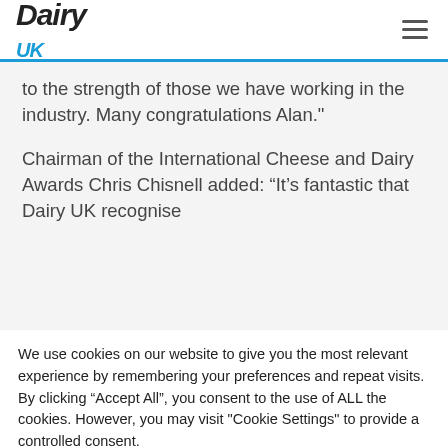Dairy UK
to the strength of those we have working in the industry. Many congratulations Alan."
Chairman of the International Cheese and Dairy Awards Chris Chisnell added: “It’s fantastic that Dairy UK recognise
We use cookies on our website to give you the most relevant experience by remembering your preferences and repeat visits. By clicking “Accept All”, you consent to the use of ALL the cookies. However, you may visit "Cookie Settings" to provide a controlled consent.
Cookie Settings | Accept All